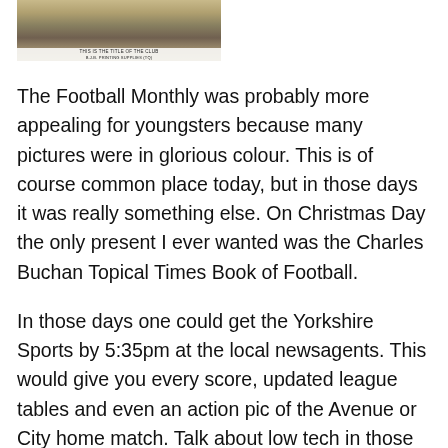[Figure (photo): A black and white photograph snippet showing what appears to be a football-related publication or magazine cover with text including 'B.J.B. PRINTING SUPPLIES (TQ)']
The Football Monthly was probably more appealing for youngsters because many pictures were in glorious colour. This is of course common place today, but in those days it was really something else. On Christmas Day the only present I ever wanted was the Charles Buchan Topical Times Book of Football.
In those days one could get the Yorkshire Sports by 5:35pm at the local newsagents. This would give you every score, updated league tables and even an action pic of the Avenue or City home match. Talk about low tech in those days! How did they do it? Of course, after the match, my ear was glued to my `tranny' to hear the running scores, and then there was the 5'o clock comprehensive results. But, the day wasn't complete